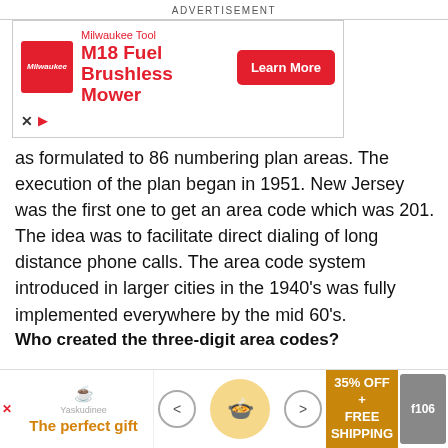ADVERTISEMENT
[Figure (other): Milwaukee Tool M18 Fuel Brushless Mower advertisement banner with red Milwaukee logo, product name, and Learn More button]
as formulated to 86 numbering plan areas. The execution of the plan began in 1951. New Jersey was the first one to get an area code which was 201. The idea was to facilitate direct dialing of long distance phone calls. The area code system introduced in larger cities in the 1940's was fully implemented everywhere by the mid 60's.
Who created the three-digit area codes?
AT&T and Bell Laboratories started working on area codes in the 1940's and it came into effect in 1947 as the No... United...
[Figure (other): Bottom advertisement banner: The perfect gift with food imagery, navigation arrows, and 35% OFF FREE SHIPPING offer]